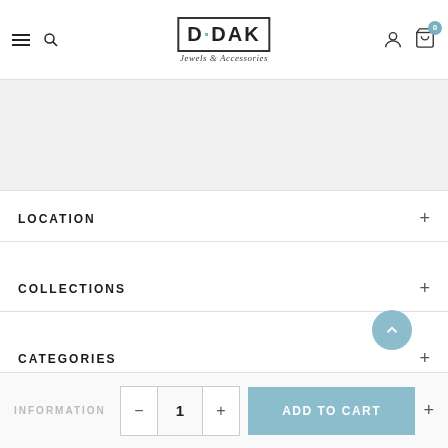[Figure (logo): D·DAK Jewels & Accessories logo with hamburger menu and search icon on the left, user and cart icons on the right]
[Figure (photo): Gray placeholder/banner section]
LOCATION
COLLECTIONS
CATEGORIES
INFORMATION
- 1 +
ADD TO CART